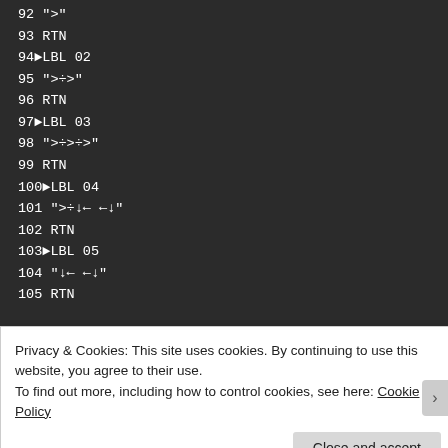92 ">"
93 RTN
94►LBL 02
95 ">÷>"
96 RTN
97►LBL 03
98 ">÷>÷>"
99 RTN
100►LBL 04
101 ">÷↓← ←↓"
102 RTN
103►LBL 05
104 "↓← ←↓"
105 RTN
Privacy & Cookies: This site uses cookies. By continuing to use this website, you agree to their use.
To find out more, including how to control cookies, see here: Cookie Policy